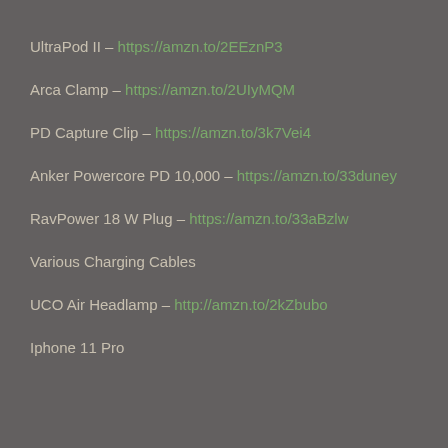UltraPod II – https://amzn.to/2EEznP3
Arca Clamp – https://amzn.to/2UIyMQM
PD Capture Clip – https://amzn.to/3k7Vei4
Anker Powercore PD 10,000 – https://amzn.to/33duney
RavPower 18 W Plug –  https://amzn.to/33aBzlw
Various Charging Cables
UCO Air Headlamp – http://amzn.to/2kZbubo
Iphone 11 Pro